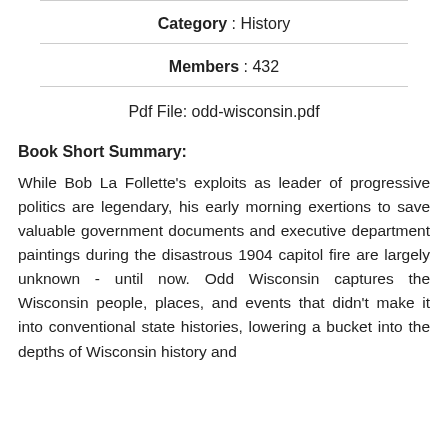Category : History
Members : 432
Pdf File: odd-wisconsin.pdf
Book Short Summary:
While Bob La Follette's exploits as leader of progressive politics are legendary, his early morning exertions to save valuable government documents and executive department paintings during the disastrous 1904 capitol fire are largely unknown - until now. Odd Wisconsin captures the Wisconsin people, places, and events that didn't make it into conventional state histories, lowering a bucket into the depths of Wisconsin history and